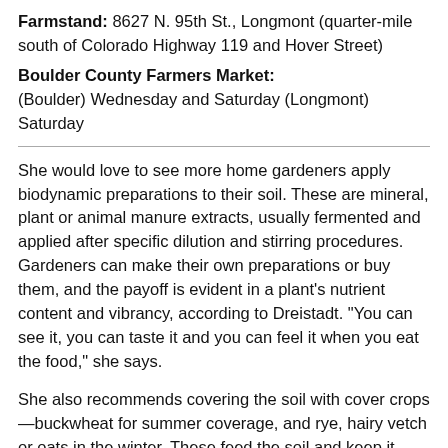Farmstand: 8627 N. 95th St., Longmont (quarter-mile south of Colorado Highway 119 and Hover Street)
Boulder County Farmers Market:
(Boulder) Wednesday and Saturday (Longmont) Saturday
She would love to see more home gardeners apply biodynamic preparations to their soil. These are mineral, plant or animal manure extracts, usually fermented and applied after specific dilution and stirring procedures. Gardeners can make their own preparations or buy them, and the payoff is evident in a plant’s nutrient content and vibrancy, according to Dreistadt. “You can see it, you can taste it and you can feel it when you eat the food,” she says.
She also recommends covering the soil with cover crops—buckwheat for summer coverage, and rye, hairy vetch or oats in the winter. These feed the soil and keep it covered, and their roots keep topsoil from blowing away. Guttridge of Longmont’s Ollin Farms agrees cover crops are a critical part of soil health. He and his team